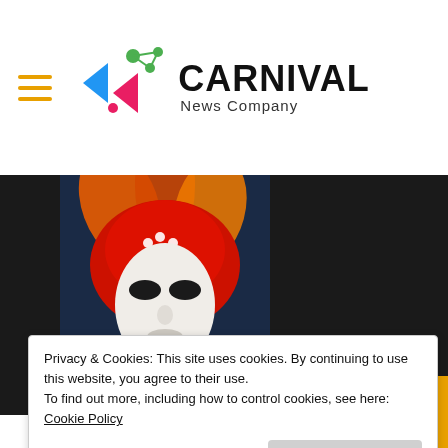CARNIVAL News Company
[Figure (photo): Carnival mask figure wearing red/orange feathered hat and white Venetian mask with ornate red costume, photographed against dark blurred background]
Privacy & Cookies: This site uses cookies. By continuing to use this website, you agree to their use.
To find out more, including how to control cookies, see here: Cookie Policy